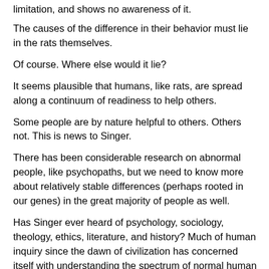limitation, and shows no awareness of it.
The causes of the difference in their behavior must lie in the rats themselves.
Of course. Where else would it lie?
It seems plausible that humans, like rats, are spread along a continuum of readiness to help others.
Some people are by nature helpful to others. Others not. This is news to Singer.
There has been considerable research on abnormal people, like psychopaths, but we need to know more about relatively stable differences (perhaps rooted in our genes) in the great majority of people as well.
Has Singer ever heard of psychology, sociology, theology, ethics, literature, and history? Much of human inquiry since the dawn of civilization has concerned itself with understanding the spectrum of normal human behavior.